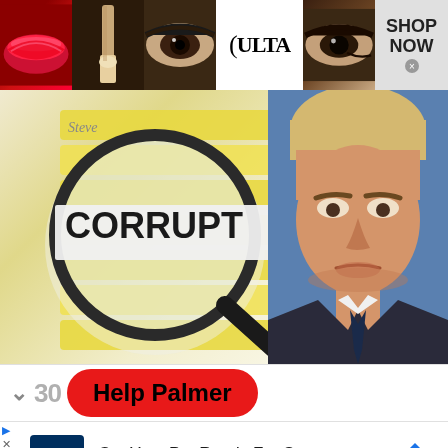[Figure (screenshot): Ulta Beauty banner advertisement showing makeup imagery, ULTA Beauty logo, and SHOP NOW button]
[Figure (screenshot): Composite image showing magnifying glass over document labeled CORRUPT alongside portrait photo of Donald Trump]
[Figure (screenshot): Red rounded button labeled Help Palmer in bold black text with gray count and chevron to the left]
[Figure (screenshot): Petco advertisement: Get Your Pet Ready For Summer with Petco logo and navigation arrow icon]